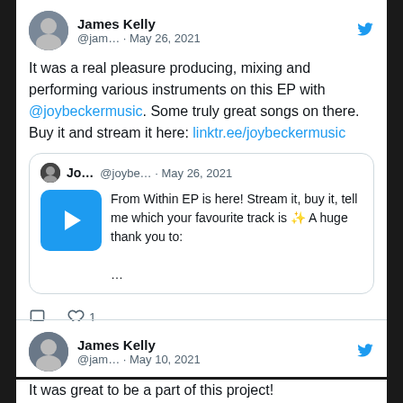[Figure (screenshot): Twitter/X social media screenshot showing tweets by James Kelly. First tweet dated May 26, 2021 about producing an EP with @joybeckermusic. Includes a quoted tweet from Jo... @joybe... about 'From Within EP'. Second tweet by James Kelly dated May 10, 2021 partially visible.]
James Kelly @jam... · May 26, 2021
It was a real pleasure producing, mixing and performing various instruments on this EP with @joybeckermusic. Some truly great songs on there. Buy it and stream it here: linktr.ee/joybeckermusic
Jo... @joybe... · May 26, 2021
From Within EP is here! Stream it, buy it, tell me which your favourite track is ✨ A huge thank you to:
...
James Kelly @jam... · May 10, 2021
It was great to be a part of this project!